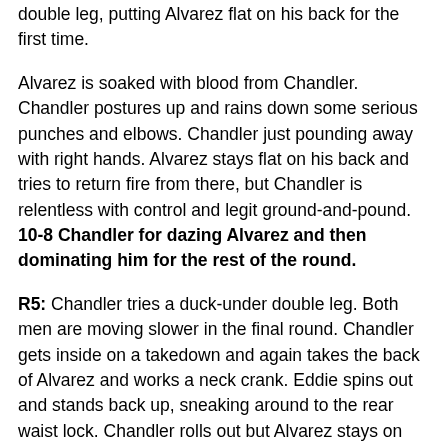double leg, putting Alvarez flat on his back for the first time.
Alvarez is soaked with blood from Chandler. Chandler postures up and rains down some serious punches and elbows. Chandler just pounding away with right hands. Alvarez stays flat on his back and tries to return fire from there, but Chandler is relentless with control and legit ground-and-pound. 10-8 Chandler for dazing Alvarez and then dominating him for the rest of the round.
R5: Chandler tries a duck-under double leg. Both men are moving slower in the final round. Chandler gets inside on a takedown and again takes the back of Alvarez and works a neck crank. Eddie spins out and stands back up, sneaking around to the rear waist lock. Chandler rolls out but Alvarez stays on him. Chandler